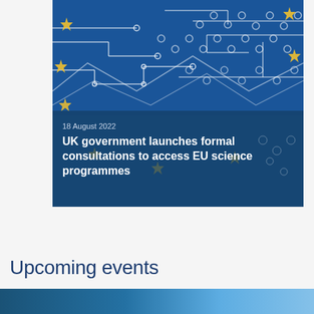[Figure (photo): EU flag with circuit board overlay design on blue background, showing yellow stars and white circuit traces. A news card overlay shows date and headline text at the bottom.]
18 August 2022
UK government launches formal consultations to access EU science programmes
Upcoming events